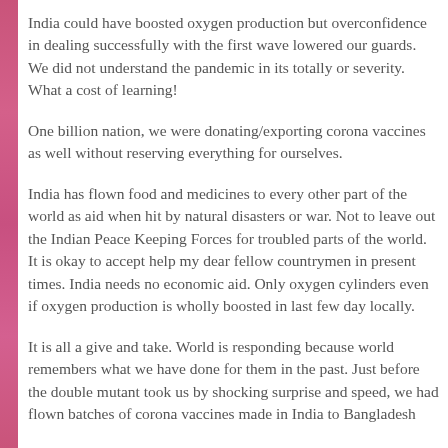India could have boosted oxygen production but overconfidence in dealing successfully with the first wave lowered our guards. We did not understand the pandemic in its totally or severity. What a cost of learning!
One billion nation, we were donating/exporting corona vaccines as well without reserving everything for ourselves.
India has flown food and medicines to every other part of the world as aid when hit by natural disasters or war. Not to leave out the Indian Peace Keeping Forces for troubled parts of the world. It is okay to accept help my dear fellow countrymen in present times. India needs no economic aid. Only oxygen cylinders even if oxygen production is wholly boosted in last few day locally.
It is all a give and take. World is responding because world remembers what we have done for them in the past. Just before the double mutant took us by shocking surprise and speed, we had flown batches of corona vaccines made in India to Bangladesh